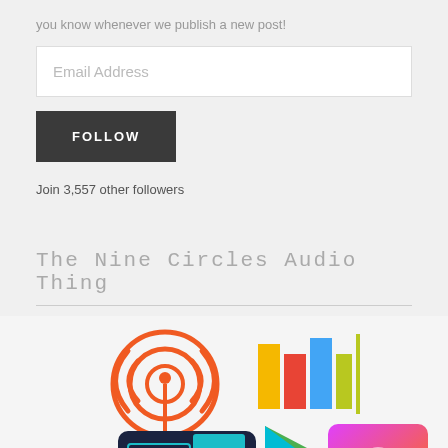you know whenever we publish a new post!
[Figure (screenshot): Email address input field with placeholder text 'Email Address']
[Figure (screenshot): Dark grey button with text 'FOLLOW' in white bold uppercase letters]
Join 3,557 other followers
The Nine Circles Audio Thing
[Figure (illustration): Collage of podcast app icons including TuneIn (orange radio tower), Google Play Music (colorful bars), Google Play (green triangle), Stitcher (S logo on gradient), Apple Podcasts (purple with waves), and Spotify (green circle with waves)]